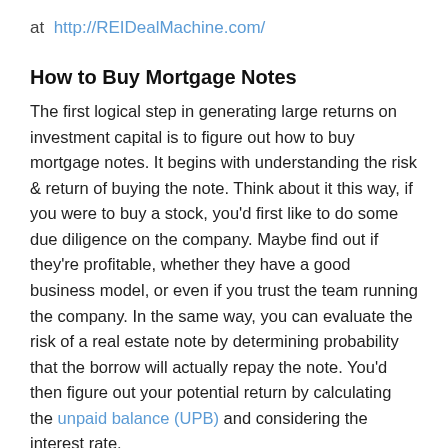at http://REIDealMachine.com/
How to Buy Mortgage Notes
The first logical step in generating large returns on investment capital is to figure out how to buy mortgage notes. It begins with understanding the risk & return of buying the note. Think about it this way, if you were to buy a stock, you'd first like to do some due diligence on the company. Maybe find out if they're profitable, whether they have a good business model, or even if you trust the team running the company. In the same way, you can evaluate the risk of a real estate note by determining probability that the borrow will actually repay the note. You'd then figure out your potential return by calculating the unpaid balance (UPB) and considering the interest rate.
There are quite a few types of mortgage notes. One way to categorize them would be sorting them into performing